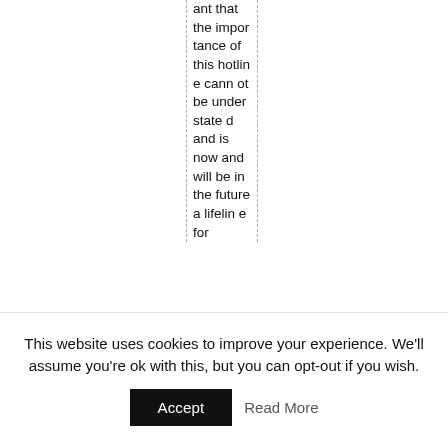ant that the importance of this hotline cannot be understated and is now and will be in the future a lifeline for
This website uses cookies to improve your experience. We'll assume you're ok with this, but you can opt-out if you wish.
Accept
Read More